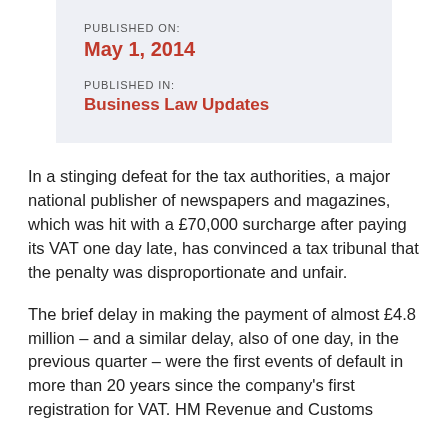PUBLISHED ON:
May 1, 2014
PUBLISHED IN:
Business Law Updates
In a stinging defeat for the tax authorities, a major national publisher of newspapers and magazines, which was hit with a £70,000 surcharge after paying its VAT one day late, has convinced a tax tribunal that the penalty was disproportionate and unfair.
The brief delay in making the payment of almost £4.8 million – and a similar delay, also of one day, in the previous quarter – were the first events of default in more than 20 years since the company's first registration for VAT. HM Revenue and Customs